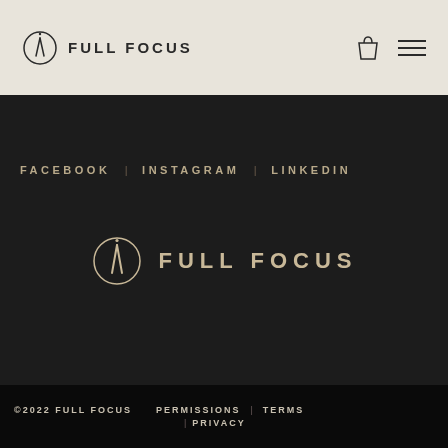FULL FOCUS
FACEBOOK | INSTAGRAM | LINKEDIN
[Figure (logo): Full Focus compass logo with text FULL FOCUS centered in dark section]
©2022 FULL FOCUS   PERMISSIONS | TERMS | PRIVACY